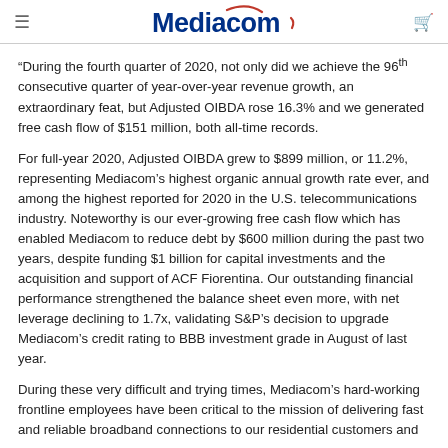Mediacom
“During the fourth quarter of 2020, not only did we achieve the 96th consecutive quarter of year-over-year revenue growth, an extraordinary feat, but Adjusted OIBDA rose 16.3% and we generated free cash flow of $151 million, both all-time records.
For full-year 2020, Adjusted OIBDA grew to $899 million, or 11.2%, representing Mediacom’s highest organic annual growth rate ever, and among the highest reported for 2020 in the U.S. telecommunications industry. Noteworthy is our ever-growing free cash flow which has enabled Mediacom to reduce debt by $600 million during the past two years, despite funding $1 billion for capital investments and the acquisition and support of ACF Fiorentina. Our outstanding financial performance strengthened the balance sheet even more, with net leverage declining to 1.7x, validating S&P’s decision to upgrade Mediacom’s credit rating to BBB investment grade in August of last year.
During these very difficult and trying times, Mediacom’s hard-working frontline employees have been critical to the mission of delivering fast and reliable broadband connections to our residential customers and